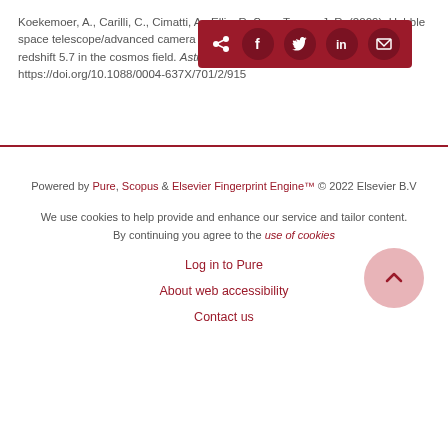Koekemoer, A., Carilli, C., Cimatti, A., Ellis, R. S., ... Trump, J. R. (2009). Hubble space telescope/advanced camera for surveys morphology of lyα emitters at redshift 5.7 in the cosmos field. Astrophysical Journal, 701(2), 915-944. https://doi.org/10.1088/0004-637X/701/2/915
[Figure (other): Social share button bar with dark red background containing share, Facebook, Twitter, LinkedIn, and email icons]
Powered by Pure, Scopus & Elsevier Fingerprint Engine™ © 2022 Elsevier B.V

We use cookies to help provide and enhance our service and tailor content. By continuing you agree to the use of cookies

Log in to Pure

About web accessibility

Contact us